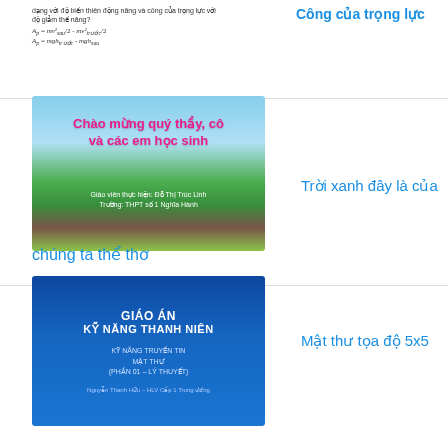dạng với độ biến thiên động năng và công của trọng lực với độ giảm thế năng?
Công của trọng lực
[Figure (photo): Educational presentation slide with greeting 'Chào mừng quý thầy, cô và các em học sinh' in pink text on nature background with lake and grass. Teacher: Đỗ Thị Trúc Linh, Trường: THPT số 1 Nghĩa Hành]
Trời xanh đây là của
chúng ta thể thơ
[Figure (photo): Educational document cover: GIÁO ÁN KỸ NĂNG THANH NIÊN - KỸ NĂNG TRUYỀN TIN MẬT THƯ (PHẦN 01 – LÝ THUYẾT) on blue background. Author: Nguyễn Thanh Hữu – HLV Cấp 1 Trung ương]
Mật thư tọa độ 5x5